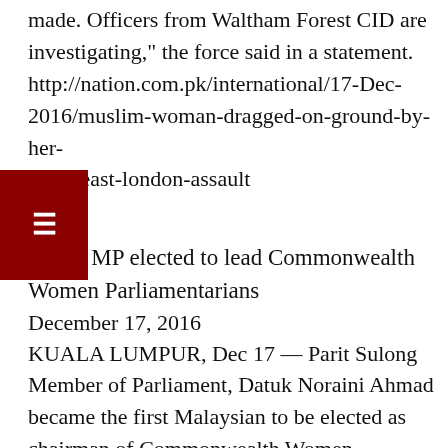made. Officers from Waltham Forest CID are investigating," the force said in a statement. http://nation.com.pk/international/17-Dec-2016/muslim-woman-dragged-on-ground-by-her-ab-in-east-london-assault
-------
Umno MP elected to lead Commonwealth Women Parliamentarians
December 17, 2016
KUALA LUMPUR, Dec 17 — Parit Sulong Member of Parliament, Datuk Noraini Ahmad became the first Malaysian to be elected as chairman of Commonwealth Women Parliamentarians (CWP).
Noraini, who is also chairman of Malaysia